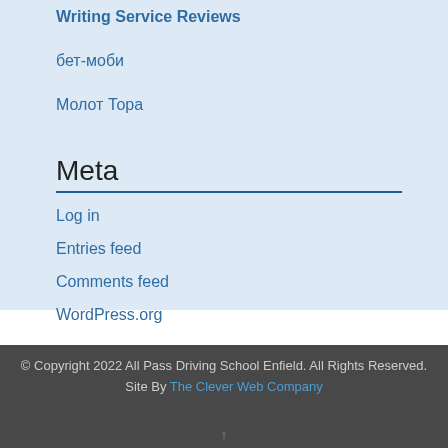Writing Service Reviews
бет-моби
Молот Тора
Meta
Log in
Entries feed
Comments feed
WordPress.org
© Copyright 2022 All Pass Driving School Enfield. All Rights Reserved.
Site By The Clever Web Company